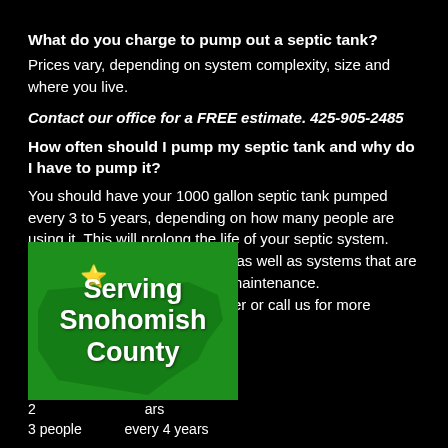What do you charge to pump out a septic tank?
Prices vary, depending on system complexity, size and where you live.
Contact our office for a FREE estimate. 425-905-2485
How often should I pump my septic tank and why do I have to pump it?
You should have your 1000 gallon septic tank pumped every 3 to 5 years, depending on how many people are using it. This will prolong the life of your septic system. Alternative Treatment Systems as well as systems that are s... require more maintenance. ...er or call us for more ...ars
[Figure (infographic): Green Washington state silhouette with text 'Serving Snohomish County' and a red star marker]
3 people       every 4 years